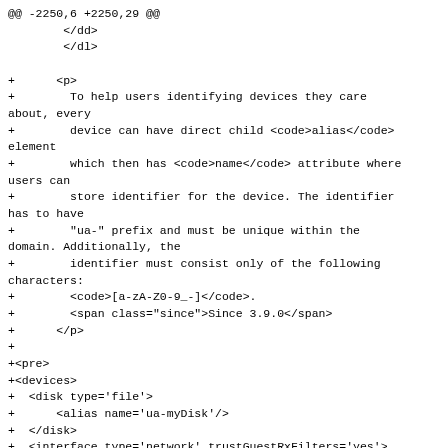@@ -2250,6 +2250,29 @@
        </dd>
        </dl>

+      <p>
+        To help users identifying devices they care about, every
+        device can have direct child <code>alias</code> element
+        which then has <code>name</code> attribute where users can
+        store identifier for the device. The identifier has to have
+        "ua-" prefix and must be unique within the domain. Additionally, the
+        identifier must consist only of the following characters:
+        <code>[a-zA-Z0-9_-]</code>.
+        <span class="since">Since 3.9.0</span>
+      </p>
+
+<pre>
+<devices>
+  <disk type='file'>
+      <alias name='ua-myDisk'/>
+  </disk>
+  <interface type='network' trustGuestRxFilters='yes'>
+      <alias name='ua-myNIC'/>
+  </interface>
+  ...
+</devices>